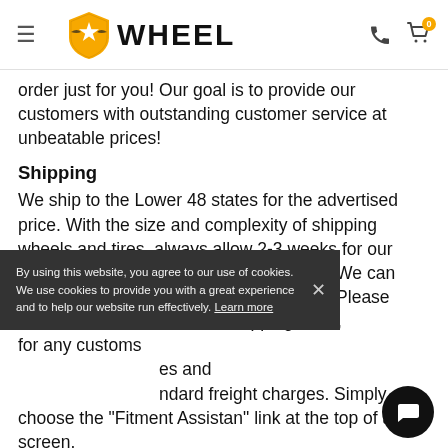WHEEL (navigation bar with logo, hamburger menu, phone icon, cart icon)
order just for you! Our goal is to provide our customers with outstanding customer service at unbeatable prices!
Shipping
We ship to the Lower 48 states for the advertised price. With the size and complexity of shipping wheels and tires, always allow 2-3 weeks for our normal packaging and shipping process. We can ship world-wide for an additional charge. Please contact us for international shipping rates, [partially obscured] for any customs [obscured] es and [obscured] ndard freight charges. Simply choose the "Fitment Assistan" link at the top of any screen.
By using this website, you agree to our use of cookies. We use cookies to provide you with a great experience and to help our website run effectively. Learn more